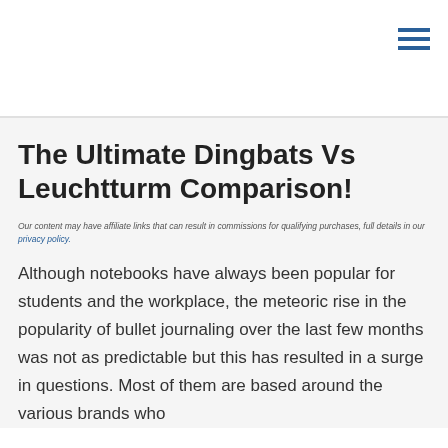The Ultimate Dingbats Vs Leuchtturm Comparison!
Our content may have affiliate links that can result in commissions for qualifying purchases, full details in our privacy policy.
Although notebooks have always been popular for students and the workplace, the meteoric rise in the popularity of bullet journaling over the last few months was not as predictable but this has resulted in a surge in questions. Most of them are based around the various brands who